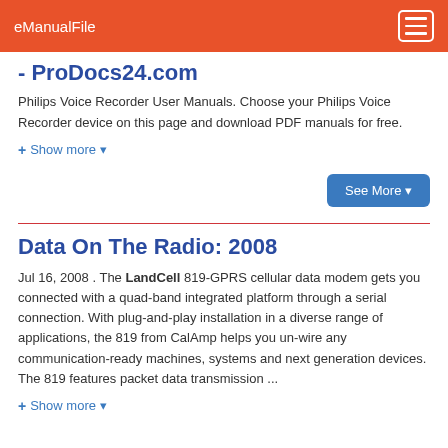eManualFile
- ProDocs24.com
Philips Voice Recorder User Manuals. Choose your Philips Voice Recorder device on this page and download PDF manuals for free.
+ Show more ▼
See More ▼
Data On The Radio: 2008
Jul 16, 2008 . The LandCell 819-GPRS cellular data modem gets you connected with a quad-band integrated platform through a serial connection. With plug-and-play installation in a diverse range of applications, the 819 from CalAmp helps you un-wire any communication-ready machines, systems and next generation devices. The 819 features packet data transmission ...
+ Show more ▼